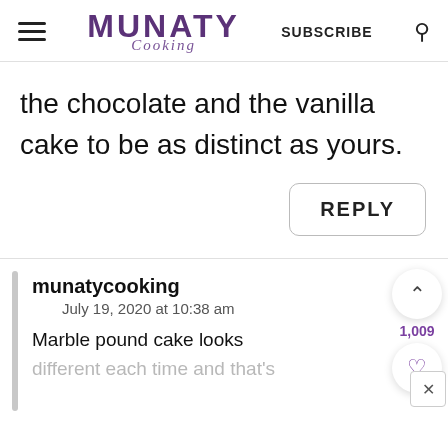MUNATY Cooking — SUBSCRIBE
the chocolate and the vanilla cake to be as distinct as yours.
REPLY
munatycooking
July 19, 2020 at 10:38 am
Marble pound cake looks different each time and that's